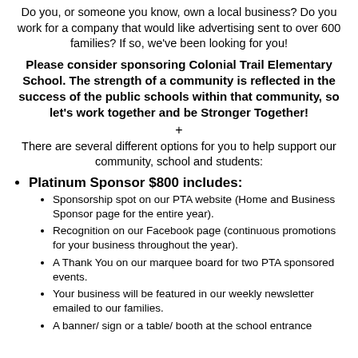Do you, or someone you know, own a local business? Do you work for a company that would like advertising sent to over 600 families? If so, we've been looking for you!
Please consider sponsoring Colonial Trail Elementary School. The strength of a community is reflected in the success of the public schools within that community, so let's work together and be Stronger Together!
+
There are several different options for you to help support our community, school and students:
Platinum Sponsor $800 includes:
Sponsorship spot on our PTA website (Home and Business Sponsor page for the entire year).
Recognition on our Facebook page (continuous promotions for your business throughout the year).
A Thank You on our marquee board for two PTA sponsored events.
Your business will be featured in our weekly newsletter emailed to our families.
A banner/ sign or a table/ booth at the school entrance